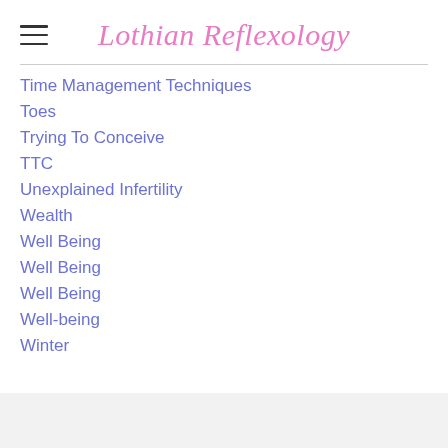Lothian Reflexology
Time Management Techniques
Toes
Trying To Conceive
TTC
Unexplained Infertility
Wealth
Well Being
Well Being
Well Being
Well-being
Winter